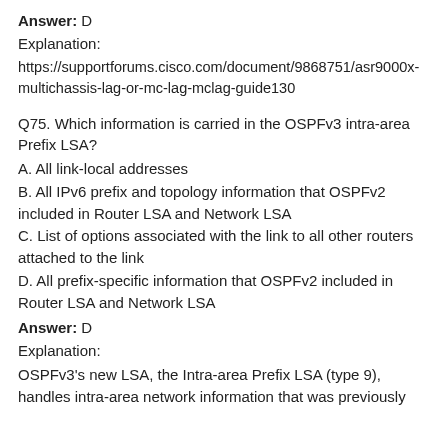Answer: D
Explanation:
https://supportforums.cisco.com/document/9868751/asr9000x-multichassis-lag-or-mc-lag-mclag-guide130
Q75. Which information is carried in the OSPFv3 intra-area Prefix LSA?
A. All link-local addresses
B. All IPv6 prefix and topology information that OSPFv2 included in Router LSA and Network LSA
C. List of options associated with the link to all other routers attached to the link
D. All prefix-specific information that OSPFv2 included in Router LSA and Network LSA
Answer: D
Explanation:
OSPFv3's new LSA, the Intra-area Prefix LSA (type 9), handles intra-area network information that was previously